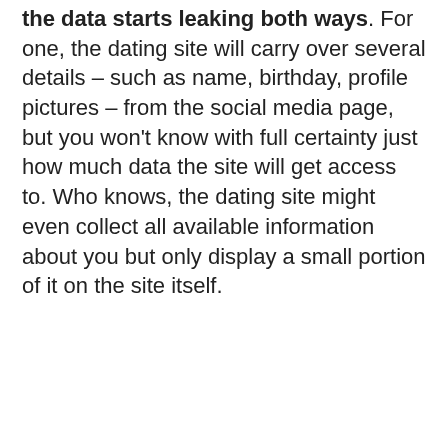the data starts leaking both ways. For one, the dating site will carry over several details – such as name, birthday, profile pictures – from the social media page, but you won't know with full certainty just how much data the site will get access to. Who knows, the dating site might even collect all available information about you but only display a small portion of it on the site itself.